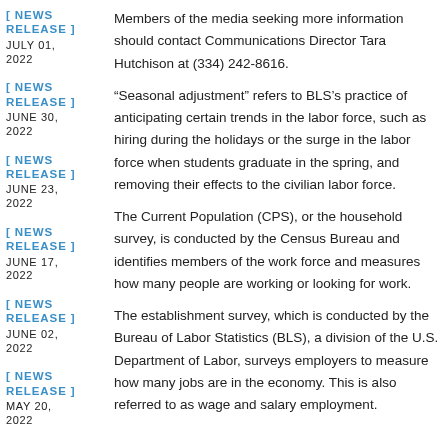[ NEWS RELEASE ] JULY 01, 2022
[ NEWS RELEASE ] JUNE 30, 2022
[ NEWS RELEASE ] JUNE 23, 2022
[ NEWS RELEASE ] JUNE 17, 2022
[ NEWS RELEASE ] JUNE 02, 2022
[ NEWS RELEASE ] MAY 20, 2022
Members of the media seeking more information should contact Communications Director Tara Hutchison at (334) 242-8616.
“Seasonal adjustment” refers to BLS’s practice of anticipating certain trends in the labor force, such as hiring during the holidays or the surge in the labor force when students graduate in the spring, and removing their effects to the civilian labor force.
The Current Population (CPS), or the household survey, is conducted by the Census Bureau and identifies members of the work force and measures how many people are working or looking for work.
The establishment survey, which is conducted by the Bureau of Labor Statistics (BLS), a division of the U.S. Department of Labor, surveys employers to measure how many jobs are in the economy. This is also referred to as wage and salary employment.